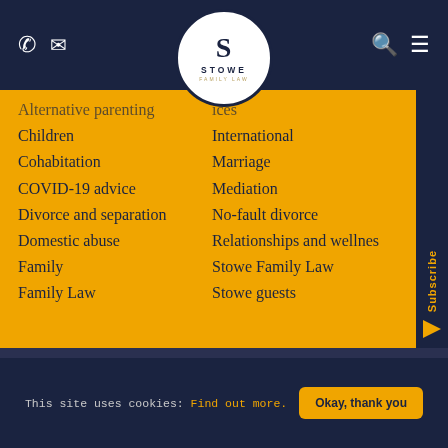Stowe Family Law — navigation header with phone, email, search, and menu icons
[Figure (logo): Stowe Family Law circular logo with stylized S, STOWE lettering and FAMILY LAW subtitle]
Alternative parenting
Children
Cohabitation
COVID-19 advice
Divorce and separation
Domestic abuse
Family
Family Law
International
Marriage
Mediation
No-fault divorce
Relationships and wellnes
Stowe Family Law
Stowe guests
This site uses cookies: Find out more. Okay, thank you